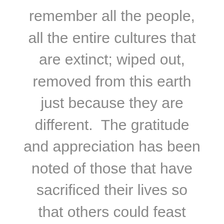remember all the people, all the entire cultures that are extinct; wiped out, removed from this earth just because they are different.  The gratitude and appreciation has been noted of those that have sacrificed their lives so that others could feast and be merry.